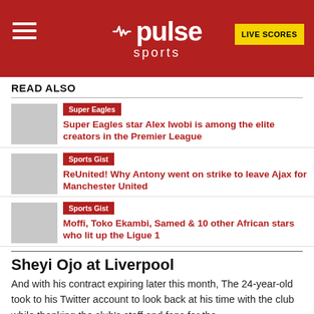pulse sports | LIVE SCORES
READ ALSO
Super Eagles | Super Eagles star Alex Iwobi is among the elite creators in the Premier League
Sports Gist | ReUnited! Why Antony went on strike to leave Ajax for Manchester United
Sports Gist | Moffi, Toko Ekambi, Samed & 10 other African stars who lit up the Ligue 1
Sheyi Ojo at Liverpool
And with his contract expiring later this month, The 24-year-old took to his Twitter account to look back at his time with the club while thanking the club's staff and fans for the